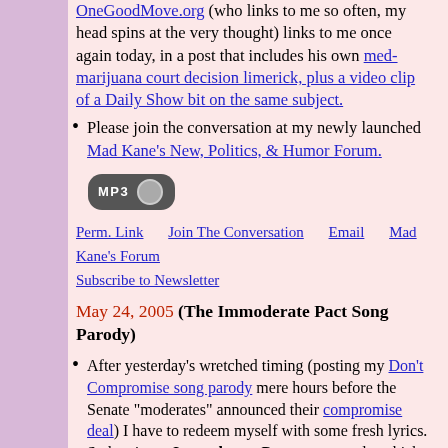OneGoodMove.org (who links to me so often, my head spins at the very thought) links to me once again today, in a post that includes his own med-marijuana court decision limerick, plus a video clip of a Daily Show bit on the same subject.
Please join the conversation at my newly launched Mad Kane's New, Politics, & Humor Forum.
[Figure (other): MP3 audio button icon]
Perm. Link   Join The Conversation   Email   Mad Kane's Forum   Subscribe to Newsletter
May 24, 2005 (The Immoderate Pact Song Parody)
After yesterday's wretched timing (posting my Don't Compromise song parody mere hours before the Senate "moderates" announced their compromise deal) I have to redeem myself with some fresh lyrics. So here's my Immoderate Pact song parody, which you can sing to "When Johnny Comes Marching Home Again," using this midi link. (And you can hear me sing it in this audio blog post.)
The Immoderate Pact Song Parody (Sing to When Johnny Comes Marching Home Again)